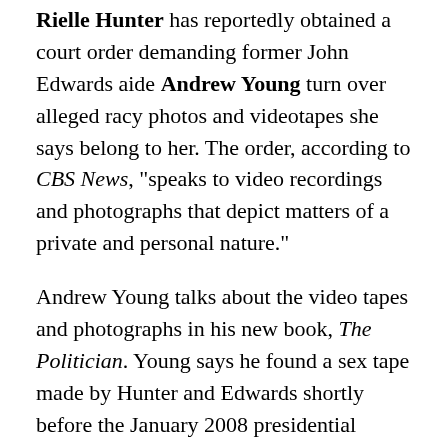Rielle Hunter has reportedly obtained a court order demanding former John Edwards aide Andrew Young turn over alleged racy photos and videotapes she says belong to her. The order, according to CBS News, "speaks to video recordings and photographs that depict matters of a private and personal nature."
Andrew Young talks about the video tapes and photographs in his new book, The Politician. Young says he found a sex tape made by Hunter and Edwards shortly before the January 2008 presidential campaign kicked into full swing.
Andrew Young claims the tape clearly shows John Edwards having a sexual encounter with a woman who is "visibly pregnant" and wearing a ring similar to one Rielle Hunter has been seen wearing.